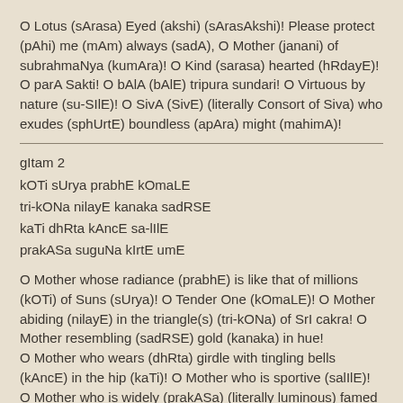O Lotus (sArasa) Eyed (akshi) (sArasAkshi)! Please protect (pAhi) me (mAm) always (sadA), O Mother (janani) of subrahmaNya (kumAra)! O Kind (sarasa) hearted (hRdayE)! O parA Sakti! O bAlA (bAlE) tripura sundari! O Virtuous by nature (su-SIlE)! O SivA (SivE) (literally Consort of Siva) who exudes (sphUrtE) boundless (apAra) might (mahimA)!
gItam 2
kOTi sUrya prabhE kOmaLE
tri-kONa nilayE kanaka sadRSE
kaTi dhRta kAncE sa-lIlE
prakASa suguNa kIrtE umE
O Mother whose radiance (prabhE) is like that of millions (kOTi) of Suns (sUrya)! O Tender One (kOmaLE)! O Mother abiding (nilayE) in the triangle(s) (tri-kONa) of SrI cakra! O Mother resembling (sadRSE) gold (kanaka) in hue! O Mother who wears (dhRta) girdle with tingling bells (kAncE) in the hip (kaTi)! O Mother who is sportive (salIlE)! O Mother who is widely (prakASa) (literally luminous) famed